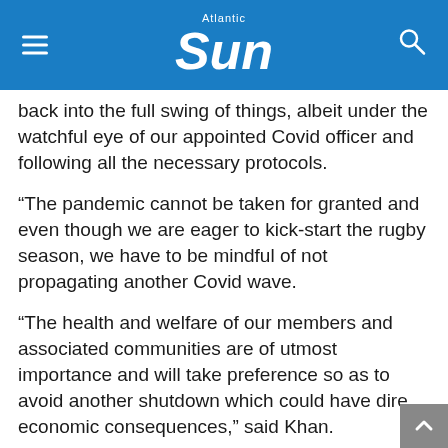Atlantic Sun
back into the full swing of things, albeit under the watchful eye of our appointed Covid officer and following all the necessary protocols.
“The pandemic cannot be taken for granted and even though we are eager to kick-start the rugby season, we have to be mindful of not propagating another Covid wave.
“The health and welfare of our members and associated communities are of utmost importance and will take preference so as to avoid another shutdown which could have dire economic consequences,” said Khan.
He said players are excited to get back onto the park as it will also allow them to increase their fitness levels and health which might have suffered under the lockdown.